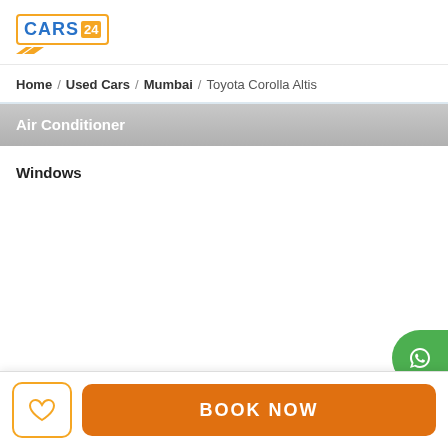[Figure (logo): CARS24 logo with orange border and diagonal stripes]
Home / Used Cars / Mumbai / Toyota Corolla Altis
Air Conditioner
Windows
[Figure (illustration): WhatsApp floating button (green circle with WhatsApp icon)]
BOOK NOW